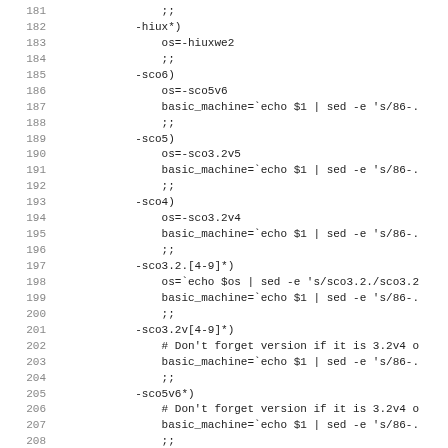Source code listing lines 181-212, shell script config.guess or similar, showing OS/machine detection cases for hiux, sco6, sco5, sco4, sco3.2.[4-9]*, sco3.2v[4-9]*, sco5v6*, sco*, with os and basic_machine assignments.